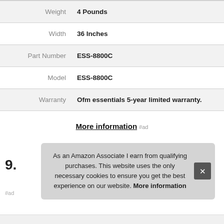| Property | Value |
| --- | --- |
| Weight | 4 Pounds |
| Width | 36 Inches |
| Part Number | ESS-8800C |
| Model | ESS-8800C |
| Warranty | Ofm essentials 5-year limited warranty. |
More information #ad
9.
#ad
As an Amazon Associate I earn from qualifying purchases. This website uses the only necessary cookies to ensure you get the best experience on our website. More information